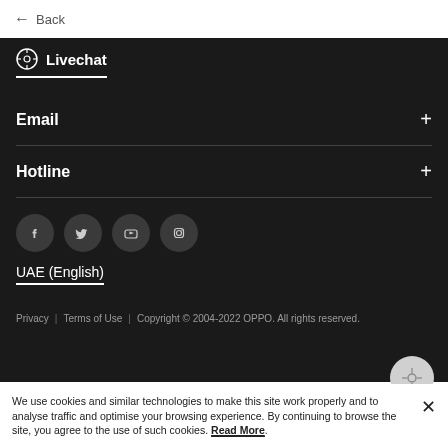← Back
Livechat
Email +
Hotline +
[Figure (other): Social media icons: Facebook, Twitter, YouTube, Instagram]
UAE (English)
Privacy | Terms of Use | Copyright © 2004-2022 OPPO. All rights reserved.
We use cookies and similar technologies to make this site work properly and to analyse traffic and optimise your browsing experience. By continuing to browse the site, you agree to the use of such cookies. Read More.